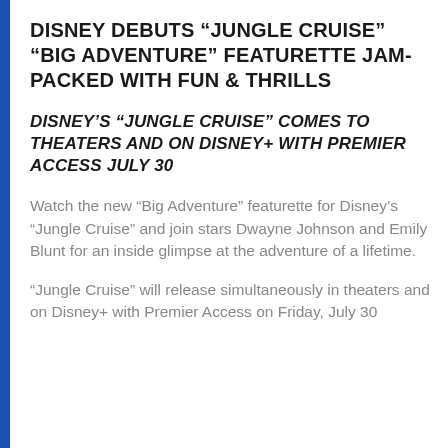DISNEY DEBUTS “JUNGLE CRUISE” “BIG ADVENTURE” FEATURETTE JAM-PACKED WITH FUN & THRILLS
DISNEY’S “JUNGLE CRUISE” COMES TO THEATERS AND ON DISNEY+ WITH PREMIER ACCESS JULY 30
Watch the new “Big Adventure” featurette for Disney’s “Jungle Cruise” and join stars Dwayne Johnson and Emily Blunt for an inside glimpse at the adventure of a lifetime.
“Jungle Cruise” will release simultaneously in theaters and on Disney+ with Premier Access on Friday, July 30